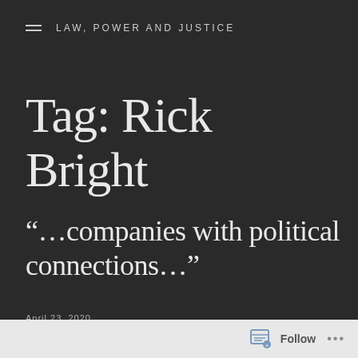LAW, POWER AND JUSTICE
Tag: Rick Bright
“…companies with political connections…”
April 23, 2020